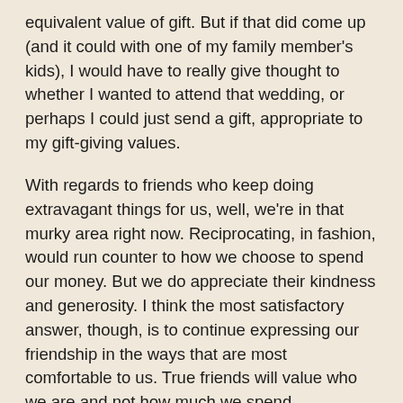equivalent value of gift. But if that did come up (and it could with one of my family member's kids), I would have to really give thought to whether I wanted to attend that wedding, or perhaps I could just send a gift, appropriate to my gift-giving values.
With regards to friends who keep doing extravagant things for us, well, we're in that murky area right now. Reciprocating, in fashion, would run counter to how we choose to spend our money. But we do appreciate their kindness and generosity. I think the most satisfactory answer, though, is to continue expressing our friendship in the ways that are most comfortable to us. True friends will value who we are and not how much we spend.
But it's still a difficult internal struggle for me.
How about you? Have you ever found yourself faced with expectations to spend more on a gift for someone else's child, than you would spend on your own? How did you handle this? How about those super generous friends who